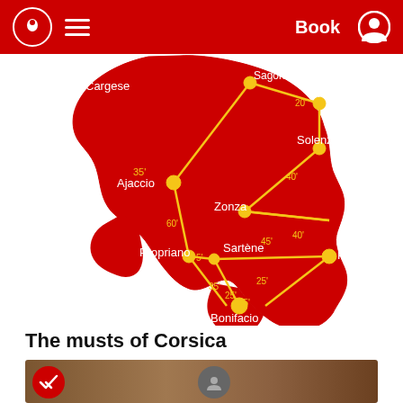Book
[Figure (map): Map of southern Corsica showing routes between cities: Cargese, Sagone, Ghisonaccia, Ajaccio, Solenzara, Zonza, Propriano, Sartene, Porto-Vecchio, Bonifacio. Yellow lines connect nodes with travel times in minutes: 35', 75', 20', 40', 40', 60', 5', 45', 35', 25', 25', 15'.]
The musts of Corsica
[Figure (photo): Hands preparing or cutting Corsican charcuterie/food products. Red circular badge with checkmark on lower left, grey circular icon in center.]